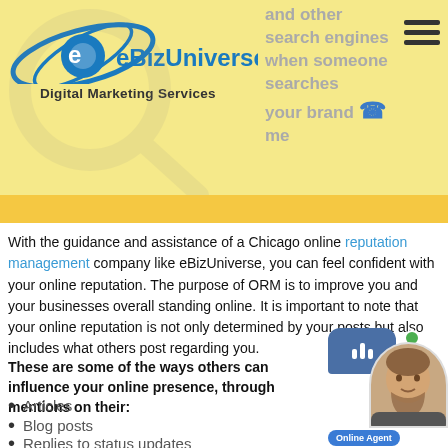eBizUniverse Digital Marketing Services — and other search engines when someone searches your brand name
With the guidance and assistance of a Chicago online reputation management company like eBizUniverse, you can feel confident with your online reputation. The purpose of ORM is to improve you and your businesses overall standing online. It is important to note that your online reputation is not only determined by your posts but also includes what others post regarding you.
These are some of the ways others can influence your online presence, through mentions on their:
Articles
Blog posts
Replies to status updates